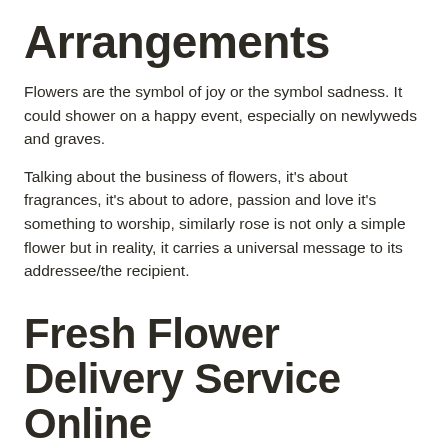Arrangements
Flowers are the symbol of joy or the symbol sadness. It could shower on a happy event, especially on newlyweds and graves.
Talking about the business of flowers, it's about fragrances, it's about to adore, passion and love it's something to worship, similarly rose is not only a simple flower but in reality, it carries a universal message to its addressee/the recipient.
Fresh Flower Delivery Service Online
Nowadays, in this era of advanced technology, The demand for online flowers gradually increases day by day, no doubt that several flower shops in Dubai. But, still, fresh flowers delivery